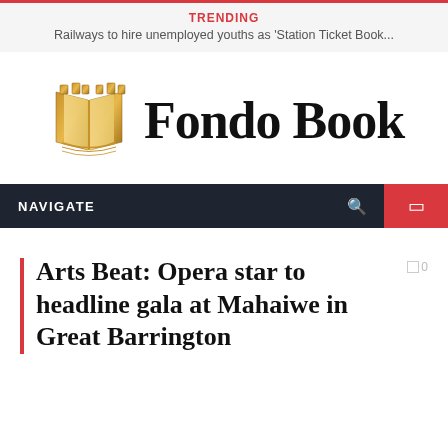TRENDING
Railways to hire unemployed youths as ‘Station Ticket Book...
[Figure (logo): Fondo Book logo with an open book icon in golden/brown color and the text 'Fondo Book' in bold serif font]
NAVIGATE
Arts Beat: Opera star to headline gala at Mahaiwe in Great Barrington